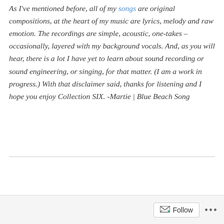As I've mentioned before, all of my songs are original compositions, at the heart of my music are lyrics, melody and raw emotion. The recordings are simple, acoustic, one-takes – occasionally, layered with my background vocals. And, as you will hear, there is a lot I have yet to learn about sound recording or sound engineering, or singing, for that matter. (I am a work in progress.) With that disclaimer said, thanks for listening and I hope you enjoy Collection SIX. -Martie | Blue Beach Song
Hits | Likes | Videos | 26 Attachments